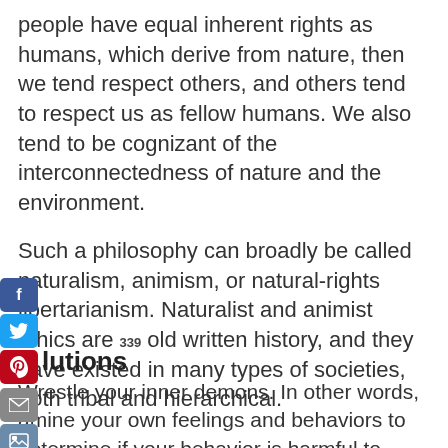people have equal inherent rights as humans, which derive from nature, then we tend respect others, and others tend to respect us as fellow humans. We also tend to be cognizant of the interconnectedness of nature and the environment.
Such a philosophy can broadly be called naturalism, animism, or natural-rights libertarianism. Naturalist and animist ethics are 339 old written history, and they have existed in many types of societies, both tribal and hierarchical.
lutions
Wrestle your inner demons. In other words, amine your own feelings and behaviors to determine if your behavior is harmful to yourself